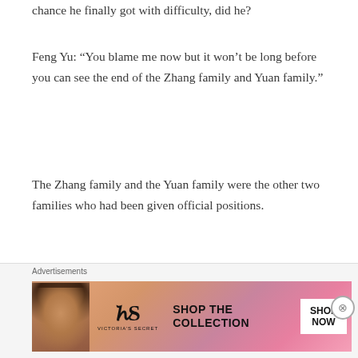chance he finally got with difficulty, did he?
Feng Yu: “You blame me now but it won’t be long before you can see the end of the Zhang family and Yuan family.”
The Zhang family and the Yuan family were the other two families who had been given official positions.
A few days after Feng Yu said this, there were countless rumors on the street.
[Figure (infographic): Victoria's Secret advertisement banner with model photo, VS logo, 'SHOP THE COLLECTION' text, and 'SHOP NOW' button on pink background]
Advertisements